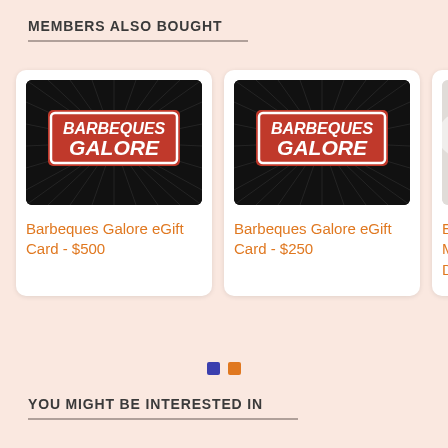MEMBERS ALSO BOUGHT
[Figure (photo): Barbeques Galore eGift Card product image showing BBQ brand logo on dark radial background]
Barbeques Galore eGift Card - $500
[Figure (photo): Barbeques Galore eGift Card product image showing BBQ brand logo on dark radial background]
Barbeques Galore eGift Card - $250
[Figure (photo): Partially visible third product card]
Ec
Ma
Di
YOU MIGHT BE INTERESTED IN